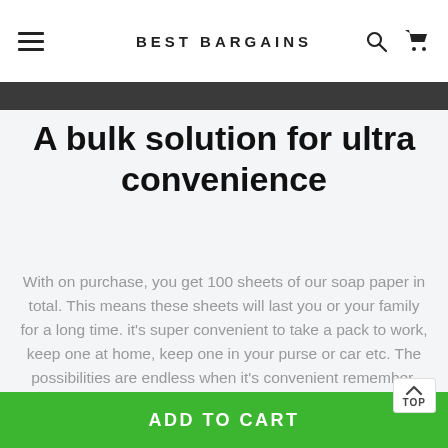BEST BARGAINS
A bulk solution for ultra convenience
With on purchase, you get 100 sheets of our soap paper in total. This means these sheets will last you or your family for a long time. it’s super convenient to take a pack to work, keep one at home, keep one in your purse or car etc. The possibilities are endless when it’s convenient remember, you need water to activate the soa,
ADD TO CART